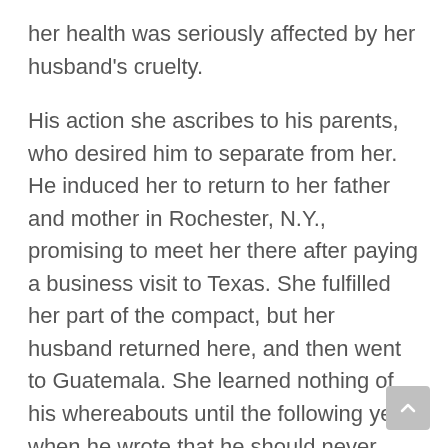her health was seriously affected by her husband's cruelty.
His action she ascribes to his parents, who desired him to separate from her. He induced her to return to her father and mother in Rochester, N.Y., promising to meet her there after paying a business visit to Texas. She fulfilled her part of the compact, but her husband returned here, and then went to Guatemala. She learned nothing of his whereabouts until the following year, when he wrote that he should never come back to her.